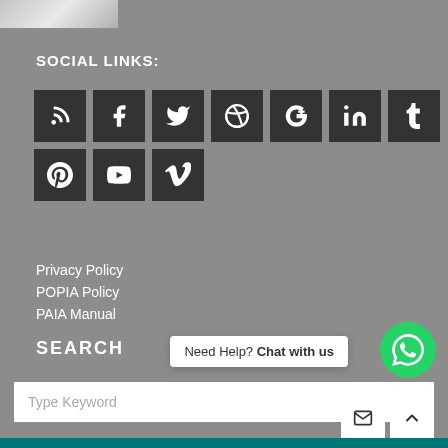[Figure (photo): Partial photo strip at top left showing an object on a surface]
SOCIAL LINKS:
[Figure (infographic): Row of 10 social media icon buttons (RSS, Facebook, Twitter, Dribbble, Google+, LinkedIn, Tumblr, Pinterest, YouTube, Vimeo) on dark square backgrounds]
Privacy Policy
POPIA Policy
PAIA Manual
SEARCH
Need Help? Chat with us
Type Keyword